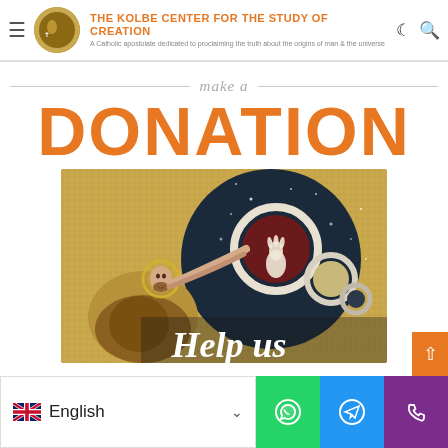THE KOLBE CENTER FOR THE STUDY OF CREATION — A Catholic apostolate dedicated to proclaiming the truth about the origins of man & the universe
make a
DONATION
[Figure (illustration): Byzantine/medieval mosaic image of a figure (Christ or saint) pointing upward toward celestial orbs, with text 'Help us' overlaid in white italic at the bottom]
English — WhatsApp — Telegram — Phone